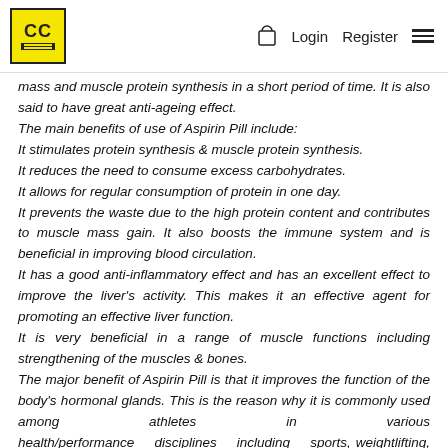CC | Login Register
mass and muscle protein synthesis in a short period of time. It is also said to have great anti-ageing effect.
The main benefits of use of Aspirin Pill include:
It stimulates protein synthesis & muscle protein synthesis.
It reduces the need to consume excess carbohydrates.
It allows for regular consumption of protein in one day.
It prevents the waste due to the high protein content and contributes to muscle mass gain. It also boosts the immune system and is beneficial in improving blood circulation.
It has a good anti-inflammatory effect and has an excellent effect to improve the liver's activity. This makes it an effective agent for promoting an effective liver function.
It is very beneficial in a range of muscle functions including strengthening of the muscles & bones.
The major benefit of Aspirin Pill is that it improves the function of the body's hormonal glands. This is the reason why it is commonly used among athletes in various health/performance disciplines including sports, weightlifting, cycling, and also sports-related activities in general.